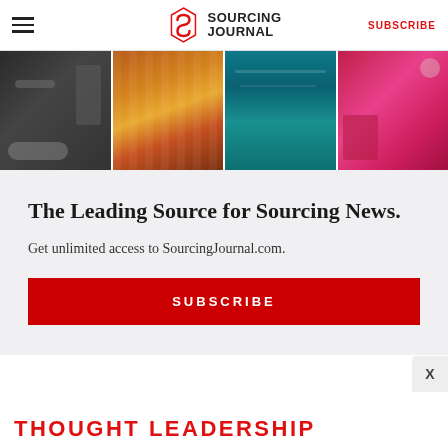Sourcing Journal — SUBSCRIBE
[Figure (photo): Four-panel photo strip showing fabric rolls/textile materials, colorful spools/threads on shelves, aerial view of ocean/teal water, and a woman sewing at a factory workstation]
The Leading Source for Sourcing News.
Get unlimited access to SourcingJournal.com.
SUBSCRIBE
THOUGHT LEADERSHIP